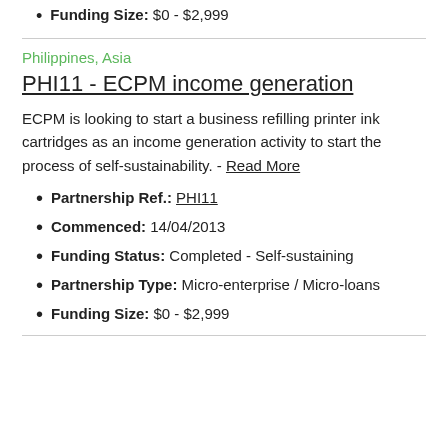Funding Size: $0 - $2,999
Philippines, Asia
PHI11 - ECPM income generation
ECPM is looking to start a business refilling printer ink cartridges as an income generation activity to start the process of self-sustainability. - Read More
Partnership Ref.: PHI11
Commenced: 14/04/2013
Funding Status: Completed - Self-sustaining
Partnership Type: Micro-enterprise / Micro-loans
Funding Size: $0 - $2,999